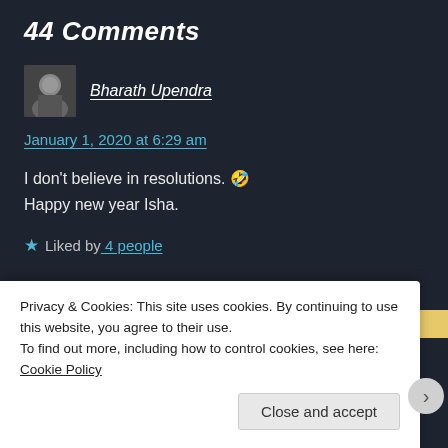44 Comments
Bharath Upendra
January 1, 2020 at 6:29 am
I don't believe in resolutions. 🤣
Happy new year Isha.
★ Liked by 4 people
Privacy & Cookies: This site uses cookies. By continuing to use this website, you agree to their use.
To find out more, including how to control cookies, see here: Cookie Policy
Close and accept